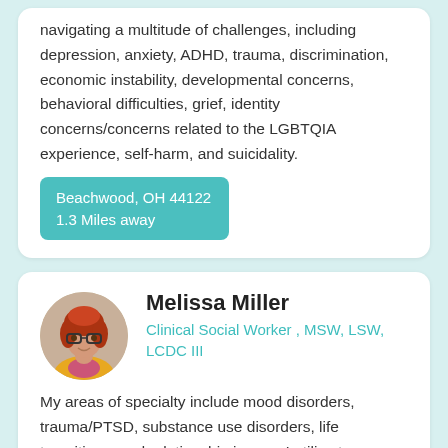navigating a multitude of challenges, including depression, anxiety, ADHD, trauma, discrimination, economic instability, developmental concerns, behavioral difficulties, grief, identity concerns/concerns related to the LGBTQIA experience, self-harm, and suicidality.
Beachwood, OH 44122
1.3 Miles away
[Figure (photo): Circular profile photo of Melissa Miller, a woman with red hair and glasses wearing a yellow jacket]
Melissa Miller
Clinical Social Worker , MSW, LSW, LCDC III
My areas of specialty include mood disorders, trauma/PTSD, substance use disorders, life transitions, and relationship issues. I utilize trauma-informed care with each of my clients and prioritize individualized, collaborative treatment,